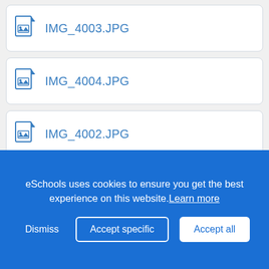IMG_4003.JPG
IMG_4004.JPG
IMG_4002.JPG
IMG_4005.JPG
IMG_4007.JPG
IMG_4006.JPG
IMG_4009.JPG
eSchools uses cookies to ensure you get the best experience on this website. Learn more
Dismiss   Accept specific   Accept all